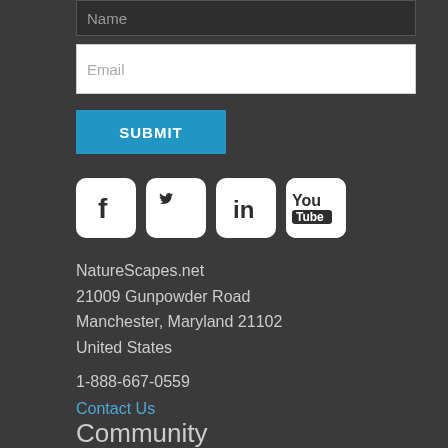Name
Email
SUBMIT
[Figure (other): Social media icons row: Facebook, Twitter, LinkedIn, YouTube]
NatureScapes.net
21009 Gunpowder Road
Manchester, Maryland 21102
United States
1-888-667-0559
Contact Us
Community
Forums, Galleries, Portfolios